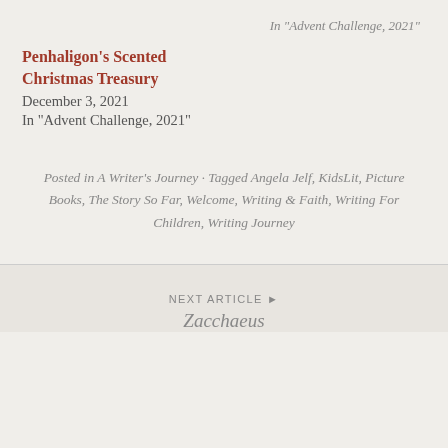In "Advent Challenge, 2021"
Penhaligon's Scented Christmas Treasury
December 3, 2021
In "Advent Challenge, 2021"
Posted in A Writer's Journey · Tagged Angela Jelf, KidsLit, Picture Books, The Story So Far, Welcome, Writing & Faith, Writing For Children, Writing Journey
NEXT ARTICLE ▶ Zacchaeus